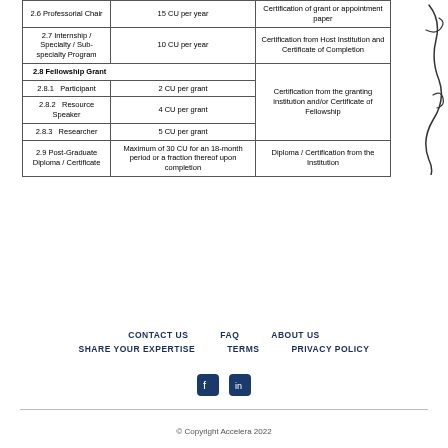| Activity | Credit Units | Supporting Documents |
| --- | --- | --- |
| 2.6 Professorial Chair | 15 CU per year | Certification of grant or appointment paper |
| 2.7 Internship / Specialty / Sub-specialty Program | 10 CU per year | Certification from Host Institution and Certificate of Completion |
| 2.8 Fellowship Grant |  | Certification from the granting institution and/or Certificate of Fellowship |
| 2.8.1  Participant | 2 CU per grant |  |
| 2.8.2  Resource Speaker | 4 CU per grant |  |
| 2.8.3  Researcher | 5 CU per grant |  |
| 2.9 Post-Graduate Diploma / Certificate | Maximum of 30 CU for an 18-month period or a fraction thereof upon completion | Diploma / Certification from the Institution |
CONTACT US   FAQ   ABOUT US   SHARE YOUR EXPERTISE   TERMS   PRIVACY POLICY
© Copyright Accelera 2022